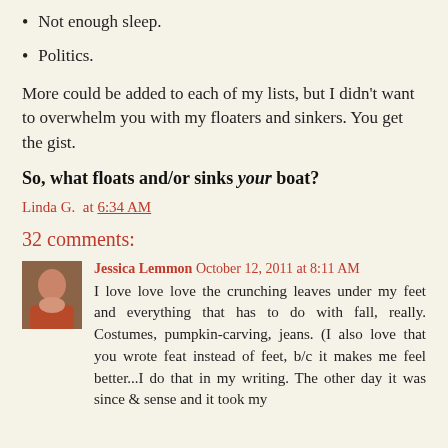Not enough sleep.
Politics.
More could be added to each of my lists, but I didn't want to overwhelm you with my floaters and sinkers. You get the gist.
So, what floats and/or sinks your boat?
Linda G. at 6:34 AM
32 comments:
Jessica Lemmon October 12, 2011 at 8:11 AM
I love love love the crunching leaves under my feet and everything that has to do with fall, really. Costumes, pumpkin-carving, jeans. (I also love that you wrote feat instead of feet, b/c it makes me feel better...I do that in my writing. The other day it was since & sense and it took my